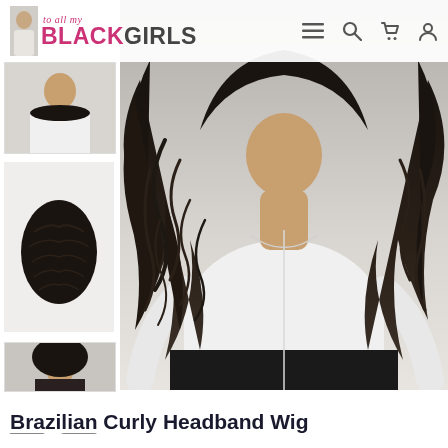to all my BLACKGIRLS — navigation header with logo and icons
[Figure (photo): Main large product photo: woman wearing a long curly Brazilian headband wig, wearing a white long-sleeve top and black bottoms, hair is very long and curly dark brown/black]
[Figure (photo): Thumbnail 1: woman in white long-sleeve top, side view]
[Figure (photo): Thumbnail 2: close-up of the wig cap/closure piece on white background]
[Figure (photo): Thumbnail 3: woman wearing the curly wig, portrait view]
Brazilian Curly Headband Wig